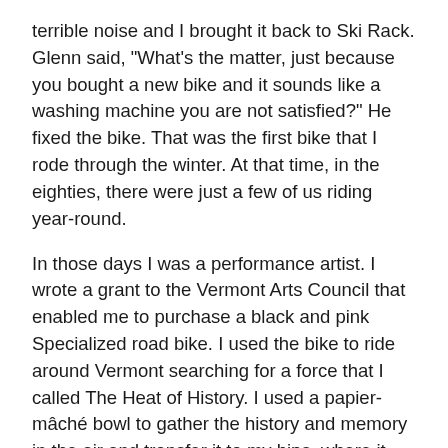terrible noise and I brought it back to Ski Rack.  Glenn said, "What's the matter, just because you bought a new bike and it sounds like a washing machine you are not satisfied?" He fixed the bike. That was the first bike that I rode through the winter.  At that time, in the eighties, there were just a few of us riding year-round.
In those days I was a performance artist.  I wrote a grant to the Vermont Arts Council that enabled me to purchase a black and pink Specialized road bike.  I used the bike to ride around Vermont searching for a force that I called The Heat of History.  I used a papier-mâché bowl to gather the history and memory in the air and transfer it to my hips, where it awoke the Heat of History in my body.  I had clip-in pedals put on the Specialized bike.   Back then clipping in and out was a challenge, and more than once I fell down before I could clip out.  With that bike, I began exploring Vermont, and that exploration continues to this day.
I had one of the greatest rides of my life on that bicycle.  I